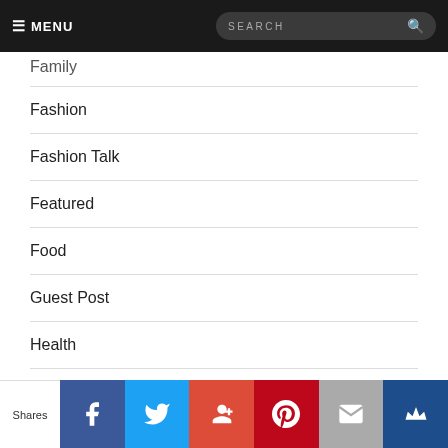MENU | SEARCH
Family
Fashion
Fashion Talk
Featured
Food
Guest Post
Health
Home
Journal
Life
Shares | Facebook | Twitter | Google+ | Pinterest | Email | Crown